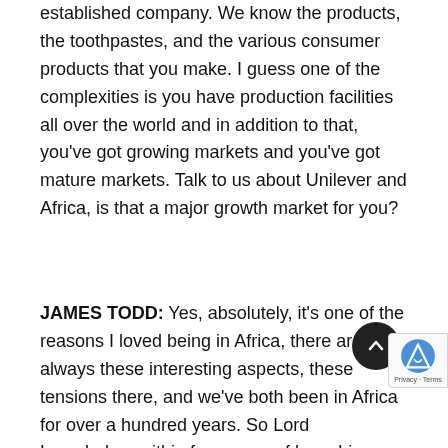established company. We know the products, the toothpastes, and the various consumer products that you make. I guess one of the complexities is you have production facilities all over the world and in addition to that, you've got growing markets and you've got mature markets. Talk to us about Unilever and Africa, is that a major growth market for you?
JAMES TODD: Yes, absolutely, it's one of the reasons I loved being in Africa, there are always these interesting aspects, these tensions there, and we've both been in Africa for over a hundred years. So Lord Leverhulme within four years of launching Sunlight Soap in the UK,